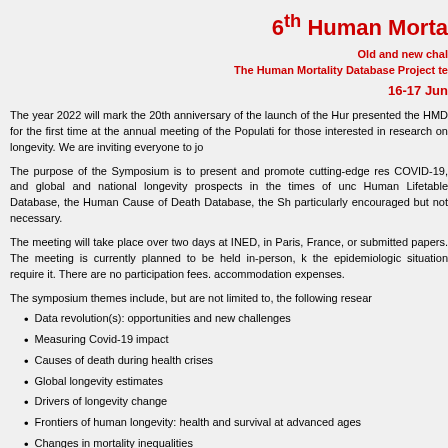6th Human Morta...
Old and new chal...
The Human Mortality Database Project te...
16-17 Jun...
The year 2022 will mark the 20th anniversary of the launch of the Hur... presented the HMD for the first time at the annual meeting of the Populati... for those interested in research on longevity. We are inviting everyone to jo...
The purpose of the Symposium is to present and promote cutting-edge res... COVID-19, and global and national longevity prospects in the times of unc... Human Lifetable Database, the Human Cause of Death Database, the Sh... particularly encouraged but not necessary.
The meeting will take place over two days at INED, in Paris, France, or... submitted papers. The meeting is currently planned to be held in-person, k... the epidemiologic situation require it. There are no participation fees... accommodation expenses.
The symposium themes include, but are not limited to, the following resear...
Data revolution(s): opportunities and new challenges
Measuring Covid-19 impact
Causes of death during health crises
Global longevity estimates
Drivers of longevity change
Frontiers of human longevity: health and survival at advanced ages
Changes in mortality inequalities